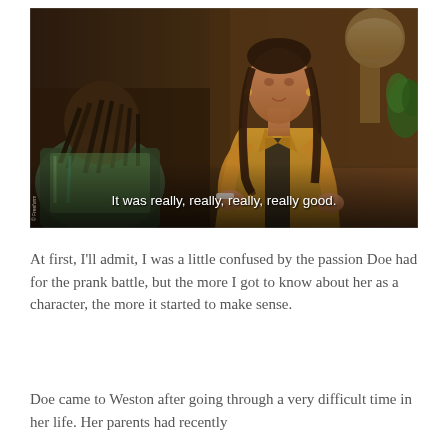[Figure (screenshot): A still from a TV show showing two people in conversation. A woman with braided hair wearing a yellow/mustard jacket sits across from another figure whose back is to the camera. A caption at the bottom of the image reads: 'It was really, really, really, really good.' There is a small watermark in the lower left corner.]
At first, I'll admit, I was a little confused by the passion Doe had for the prank battle, but the more I got to know about her as a character, the more it started to make sense.
Doe came to Weston after going through a very difficult time in her life. Her parents had recently